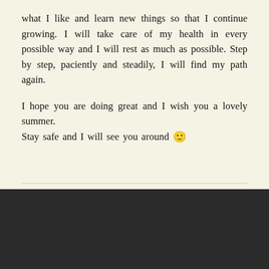what I like and learn new things so that I continue growing. I will take care of my health in every possible way and I will rest as much as possible. Step by step, paciently and steadily, I will find my path again.

I hope you are doing great and I wish you a lovely summer.
Stay safe and I will see you around 🙂
BLOG AT WORDPRESS.COM.